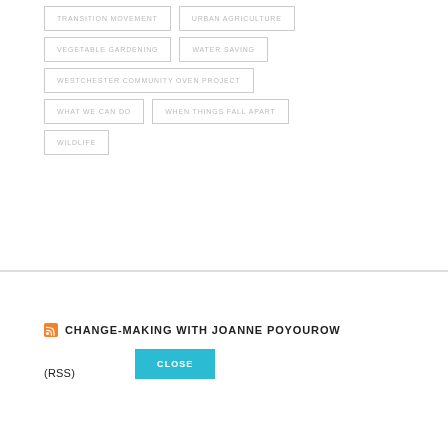TRANSITION MOVEMENT
URBAN AGRICULTURE
VEGETABLE GARDENING
WATER SAVING
WESTCHESTER COMMUNITY OVEN PROJECT
WHAT WE CAN DO
WHEN THINGS FALL APART
WILDLIFE
CHANGE-MAKING WITH JOANNE POYOUROW
(RSS)
CLOSE